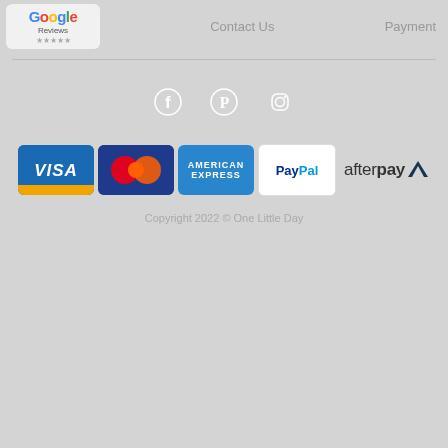[Figure (logo): Google Reviews logo box with Google multicolor text and Reviews label]
Contact Us
Payment
[Figure (infographic): Social media icons: Facebook, Pinterest, Instagram in white outline on grey background]
[Figure (infographic): Payment method logos: Visa, Mastercard, American Express, PayPal, Afterpay]
Copyright 2022 © One Little Day